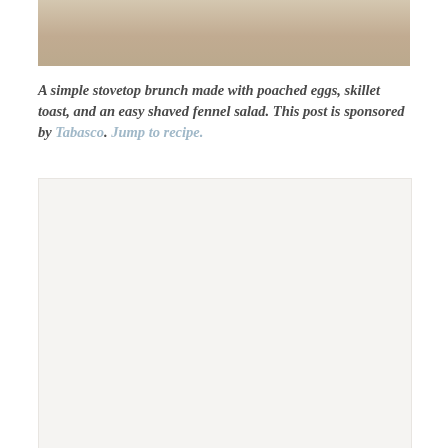[Figure (photo): Top portion of a food photograph showing a beige/cream colored surface, likely a table or background for a brunch dish.]
A simple stovetop brunch made with poached eggs, skillet toast, and an easy shaved fennel salad. This post is sponsored by Tabasco. Jump to recipe.
[Figure (photo): A large light gray/off-white placeholder area representing the bottom portion of a food photograph.]